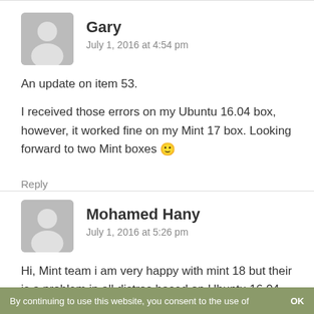Gary
July 1, 2016 at 4:54 pm
An update on item 53.
I received those errors on my Ubuntu 16.04 box, however, it worked fine on my Mint 17 box. Looking forward to two Mint boxes 🙂
Reply
Mohamed Hany
July 1, 2016 at 5:26 pm
Hi, Mint team i am very happy with mint 18 but their is a problem in all distros based on Ubuntu 16.04 exactly
By continuing to use this website, you consent to the use of   OK